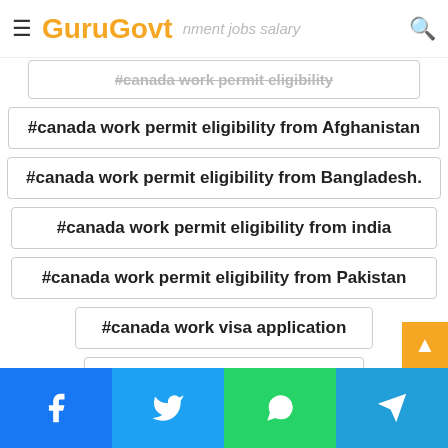GuruGovt — government jobs salary
#canada work permit eligibility
#canada work permit eligibility from Afghanistan
#canada work permit eligibility from Bangladesh.
#canada work permit eligibility from india
#canada work permit eligibility from Pakistan
#canada work visa application
#CIBC Gloucester Canada
#CIBC Gloucester Canada Careers Jobs
Facebook | Twitter | WhatsApp | Telegram